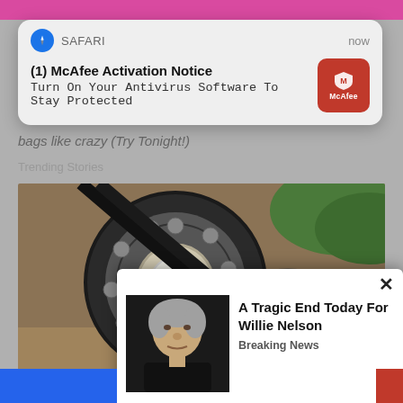[Figure (screenshot): Safari browser notification popup: '(1) McAfee Activation Notice - Turn On Your Antivirus Software To Stay Protected' with McAfee logo button]
bags like crazy (Try Tonight!)
Trending Stories
[Figure (photo): Close-up photo of mechanical components including a large ball bearing wheel/pulley with black belt and white component in outdoor setting]
[Figure (screenshot): Clickbait popup over photo: image of elderly man (Willie Nelson) with text 'A Tragic End Today For Willie Nelson' and category 'Breaking News', with X close button]